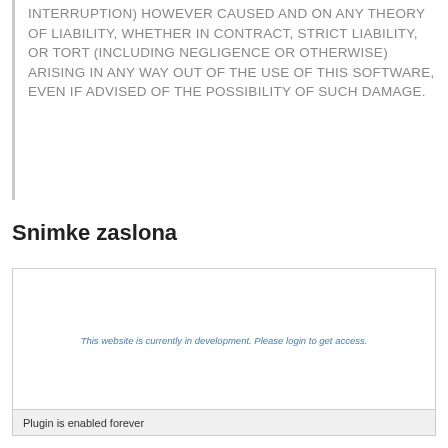INTERRUPTION) HOWEVER CAUSED AND ON ANY THEORY OF LIABILITY, WHETHER IN CONTRACT, STRICT LIABILITY, OR TORT (INCLUDING NEGLIGENCE OR OTHERWISE) ARISING IN ANY WAY OUT OF THE USE OF THIS SOFTWARE, EVEN IF ADVISED OF THE POSSIBILITY OF SUCH DAMAGE.
Snimke zaslona
[Figure (screenshot): Screenshot showing a webpage with the message: 'This website is currently in development. Please login to get access.' with a footer bar reading 'Plugin is enabled forever']